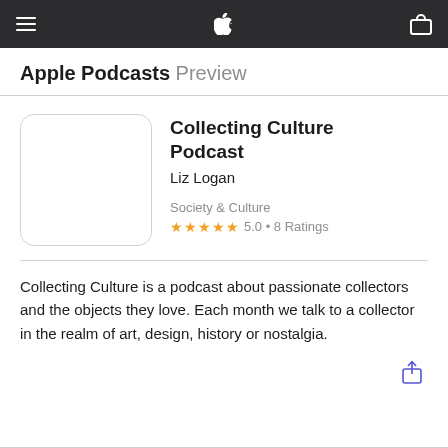Apple Podcasts Preview
Collecting Culture Podcast
Liz Logan
Society & Culture
★★★★★ 5.0 • 8 Ratings
Collecting Culture is a podcast about passionate collectors and the objects they love. Each month we talk to a collector in the realm of art, design, history or nostalgia.